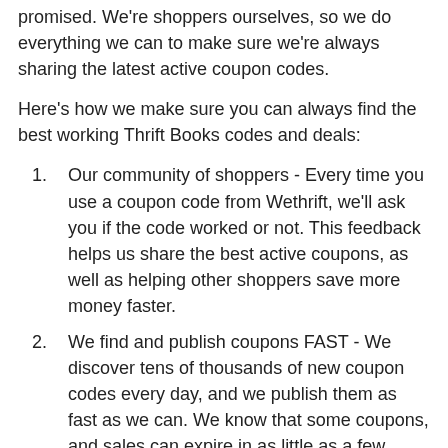promised. We're shoppers ourselves, so we do everything we can to make sure we're always sharing the latest active coupon codes.
Here's how we make sure you can always find the best working Thrift Books codes and deals:
Our community of shoppers - Every time you use a coupon code from Wethrift, we'll ask you if the code worked or not. This feedback helps us share the best active coupons, as well as helping other shoppers save more money faster.
We find and publish coupons FAST - We discover tens of thousands of new coupon codes every day, and we publish them as fast as we can. We know that some coupons, and sales can expire in as little as a few hours, so we always publish them as quickly as possible.
We don't steal coupons - Many coupon websites